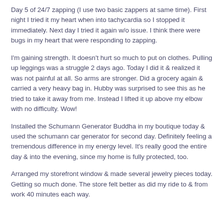Day 5 of 24/7 zapping (I use two basic zappers at same time). First night I tried it my heart when into tachycardia so I stopped it immediately. Next day I tried it again w/o issue. I think there were bugs in my heart that were responding to zapping.
I'm gaining strength. It doesn't hurt so much to put on clothes. Pulling up leggings was a struggle 2 days ago. Today I did it & realized it was not painful at all. So arms are stronger. Did a grocery again & carried a very heavy bag in. Hubby was surprised to see this as he tried to take it away from me. Instead I lifted it up above my elbow with no difficulty. Wow!
Installed the Schumann Generator Buddha in my boutique today & used the schumann car generator for second day. Definitely feeling a tremendous difference in my energy level. It's really good the entire day & into the evening, since my home is fully protected, too.
Arranged my storefront window & made several jewelry pieces today. Getting so much done. The store felt better as did my ride to & from work 40 minutes each way.